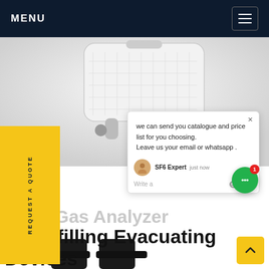MENU
[Figure (photo): SF6 gas analyzer/refilling device product photo on white background, top-down view showing white equipment housing]
REQUEST A QUOTE
we can send you catalogue and price list for you choosing.
Leave us your email or whatsapp .
SF6 Expert  just now
Write a
F6 Gas Analyzer
F6 Refilling Evacuating Devices
[Figure (photo): Partial view of dark-colored SF6 equipment/device at bottom of page]